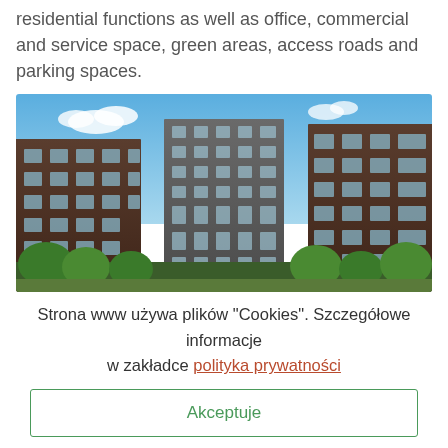residential functions as well as office, commercial and service space, green areas, access roads and parking spaces.
[Figure (photo): Exterior photo of a modern residential apartment complex showing multiple brick buildings with balconies under a blue sky with trees in the foreground.]
Strona www używa plików "Cookies". Szczegółowe informacje w zakładce polityka prywatności
Akceptuje